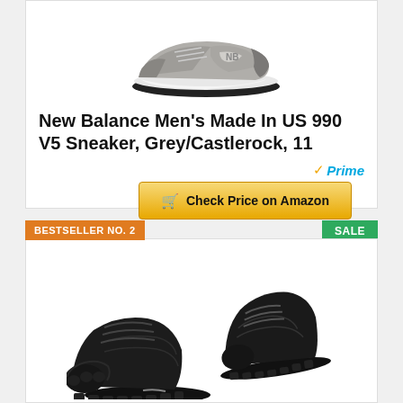[Figure (photo): Grey New Balance 990 V5 sneaker on white background]
New Balance Men's Made In US 990 V5 Sneaker, Grey/Castlerock, 11
[Figure (other): Amazon Prime badge and Check Price on Amazon button]
BESTSELLER NO. 2
SALE
[Figure (photo): Black minimalist barefoot-style athletic shoes pair on white background]